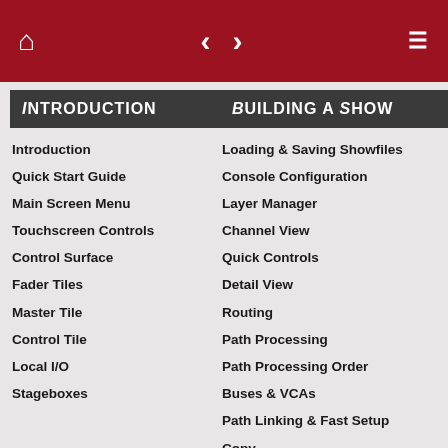Navigation bar with home, back/forward arrows, and menu icons
Introduction
Introduction
Quick Start Guide
Main Screen Menu
Touchscreen Controls
Control Surface
Fader Tiles
Master Tile
Control Tile
Local I/O
Stageboxes
Building a Show
Loading & Saving Showfiles
Console Configuration
Layer Manager
Channel View
Quick Controls
Detail View
Routing
Path Processing
Path Processing Order
Buses & VCAs
Path Linking & Fast Setup
Copy
Effects Rack
Matrix
Clocking & I/O Connections
Local & MADI I/O Config